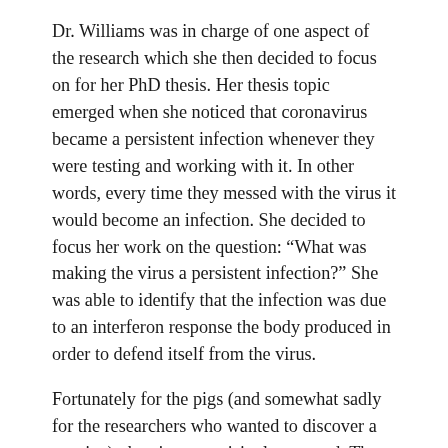Dr. Williams was in charge of one aspect of the research which she then decided to focus on for her PhD thesis. Her thesis topic emerged when she noticed that coronavirus became a persistent infection whenever they were testing and working with it. In other words, every time they messed with the virus it would become an infection. She decided to focus her work on the question: “What was making the virus a persistent infection?” She was able to identify that the infection was due to an interferon response the body produced in order to defend itself from the virus.
Fortunately for the pigs (and somewhat sadly for the researchers who wanted to discover a vaccine), the virus surprisingly mutated. The sudden mutation caused the intestinal side effects of TGE to disappear, leaving only the respiratory side